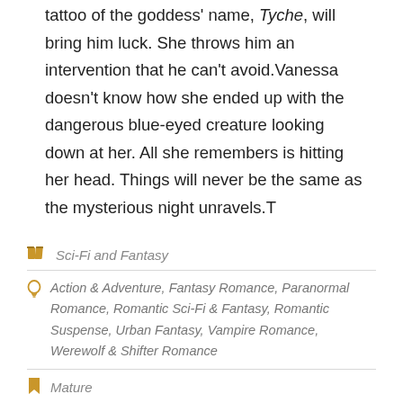tattoo of the goddess' name, Tyche, will bring him luck. She throws him an intervention that he can't avoid.Vanessa doesn't know how she ended up with the dangerous blue-eyed creature looking down at her. All she remembers is hitting her head. Things will never be the same as the mysterious night unravels.T
Sci-Fi and Fantasy
Action & Adventure, Fantasy Romance, Paranormal Romance, Romantic Sci-Fi & Fantasy, Romantic Suspense, Urban Fantasy, Vampire Romance, Werewolf & Shifter Romance
Mature